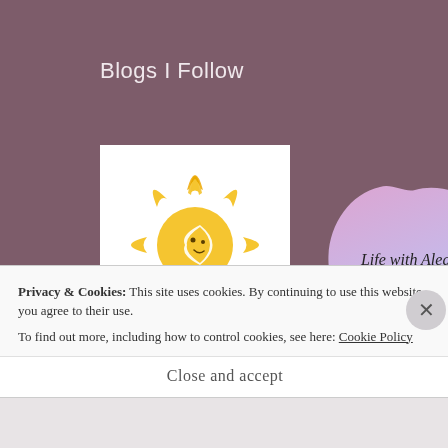Blogs I Follow
[Figure (logo): Yellow sun with a face (crescent moon face inside), stylized sun rays, on white background — blog logo]
[Figure (logo): Heart-shaped blob with pink-to-light-blue gradient, handwritten text 'Life with Alegria' in black]
[Figure (illustration): Partial dark line drawing of a figure, visible at bottom of page behind the cookie banner]
Privacy & Cookies: This site uses cookies. By continuing to use this website, you agree to their use.
To find out more, including how to control cookies, see here: Cookie Policy
Close and accept